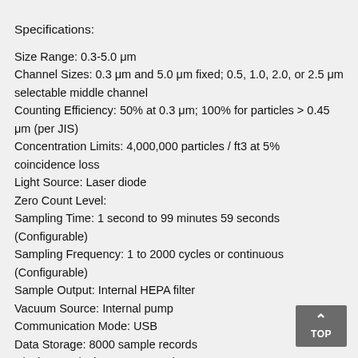Specifications:
Size Range: 0.3-5.0 μm
Channel Sizes: 0.3 μm and 5.0 μm fixed; 0.5, 1.0, 2.0, or 2.5 μm selectable middle channel
Counting Efficiency: 50% at 0.3 μm; 100% for particles > 0.45 μm (per JIS)
Concentration Limits: 4,000,000 particles / ft3 at 5% coincidence loss
Light Source: Laser diode
Zero Count Level:
Sampling Time: 1 second to 99 minutes 59 seconds (Configurable)
Sampling Frequency: 1 to 2000 cycles or continuous (Configurable)
Sample Output: Internal HEPA filter
Vacuum Source: Internal pump
Communication Mode: USB
Data Storage: 8000 sample records
Display: 3.5-inch 320 x 240 Color LCD
Power: DC 5V 0.7A (Mini USB TYPE-B)
Battery: 4 x AA
Battery Life: Up to 4.5 hours of continuous use (LCD Backlight low, 2400mAh Ni-MH Battery)